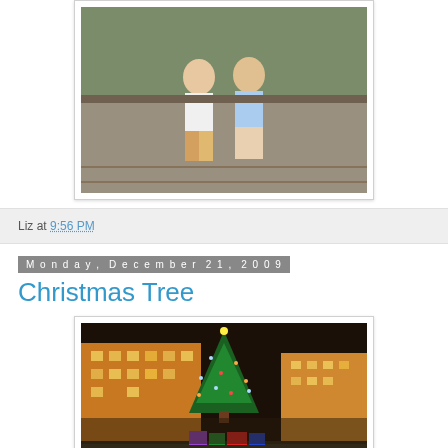[Figure (photo): Two people sitting together on a wooden bench or deck outdoors, with greenery in the background. Partial view — upper bodies cropped.]
Liz at 9:56 PM
Monday, December 21, 2009
Christmas Tree
[Figure (photo): Night photograph of a large illuminated Christmas tree in an outdoor plaza, with hotel/building in background and colorful gift boxes at the base.]